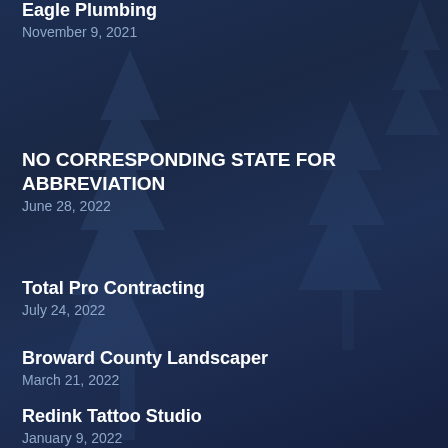Eagle Plumbing
November 9, 2021
NO CORRESPONDING STATE FOR ABBREVIATION
June 28, 2022
Total Pro Contracting
July 24, 2022
Broward County Landscaper
March 21, 2022
Redink Tattoo Studio
January 9, 2022